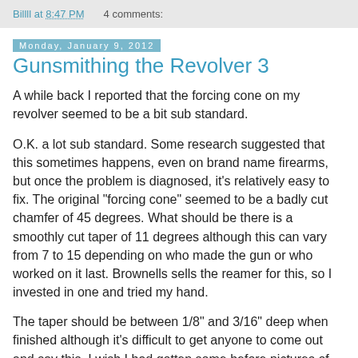Billll at 8:47 PM    4 comments:
Monday, January 9, 2012
Gunsmithing the Revolver 3
A while back I reported that the forcing cone on my revolver seemed to be a bit sub standard.
O.K. a lot sub standard. Some research suggested that this sometimes happens, even on brand name firearms, but once the problem is diagnosed, it's relatively easy to fix. The original "forcing cone" seemed to be a badly cut chamfer of 45 degrees. What should be there is a smoothly cut taper of 11 degrees although this can vary from 7 to 15 depending on who made the gun or who worked on it last. Brownells sells the reamer for this, so I invested in one and tried my hand.
The taper should be between 1/8" and 3/16" deep when finished although it's difficult to get anyone to come out and say this. I wish I had gotten some before pictures of this showing really heavy copper and lead fouling in the barrel